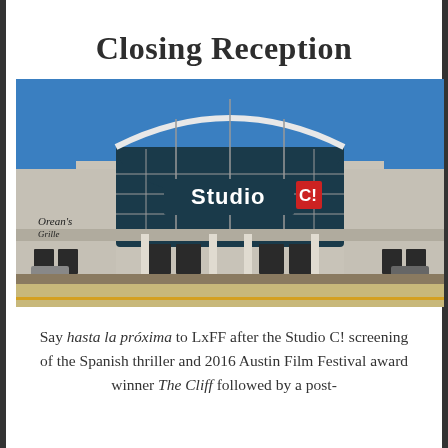Closing Reception
[Figure (photo): Exterior photo of Studio C! cinema building with large arched windows, blue sky, and Studio C! signage with red logo block]
Say hasta la próxima to LxFF after the Studio C! screening of the Spanish thriller and 2016 Austin Film Festival award winner The Cliff followed by a post-